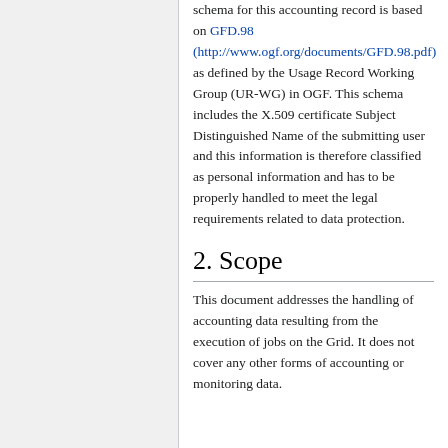schema for this accounting record is based on GFD.98 (http://www.ogf.org/documents/GFD.98.pdf) as defined by the Usage Record Working Group (UR-WG) in OGF. This schema includes the X.509 certificate Subject Distinguished Name of the submitting user and this information is therefore classified as personal information and has to be properly handled to meet the legal requirements related to data protection.
2. Scope
This document addresses the handling of accounting data resulting from the execution of jobs on the Grid. It does not cover any other forms of accounting or monitoring data.